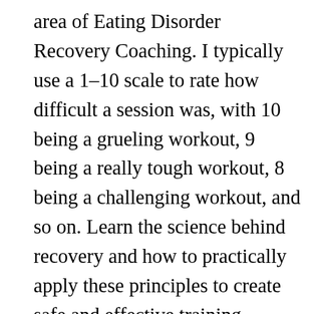area of Eating Disorder Recovery Coaching. I typically use a 1–10 scale to rate how difficult a session was, with 10 being a grueling workout, 9 being a really tough workout, 8 being a challenging workout, and so on. Learn the science behind recovery and how to practically apply these principles to create safe and effective training programs for your clients. Focus on. Some of the most popular recovery techniques for athletes include hydrotherapy, active recovery, stretching, compression garments, massage, sleep and nutrition. The second is in the two to three hours post-exercise. Phase one is an energy-investment phase, while phase two represents the energy-